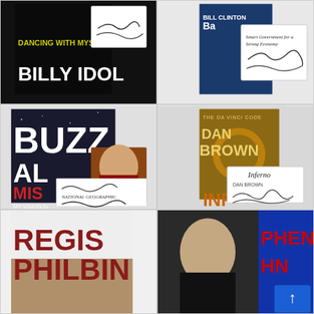[Figure (photo): Signed book cover: 'Dancing With Myself' by Billy Idol, showing black background with author's name in large white letters, with a signature on a white insert card]
[Figure (photo): Signed book by Bill Clinton about 'Back to Work: Smart Government for a Strong Economy', showing book cover and a white insert card with Clinton's signature]
[Figure (photo): Signed book 'Mission to Mars: My Vision for Space Exploration' by Buzz Aldrin, showing the book cover with astronaut imagery and a photo of Buzz Aldrin overlaid, with a signature card showing 'Buzz Aldrin' and another signature]
[Figure (photo): Signed books by Dan Brown: 'The Da Vinci Code' cover and 'Inferno' signed copy showing the book covers and a signature card with Dan Brown's signature]
[Figure (photo): Partially visible signed book by Regis Philbin, showing the name 'REGIS PHILBIN' in large red letters on a white background with a partial photo of Philbin]
[Figure (photo): Partially visible signed material for Stephen King, showing a photo of King and partial text 'STEPHEN KING' with a blue scroll button overlay in the bottom right corner]